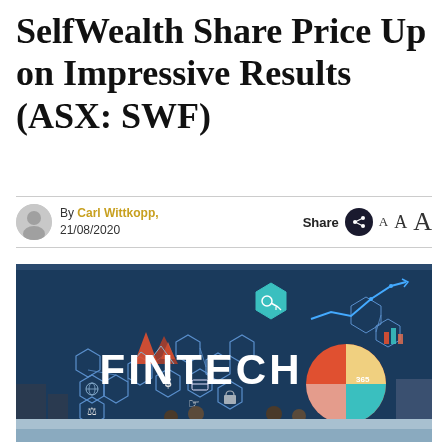SelfWealth Share Price Up on Impressive Results (ASX: SWF)
By Carl Wittkopp, 21/08/2020
[Figure (photo): Fintech illustration: a billboard with 'FINTECH' text surrounded by financial icons including charts, pie chart, hexagonal network nodes, dollar sign, globe, lock, and silhouettes of people standing in front]